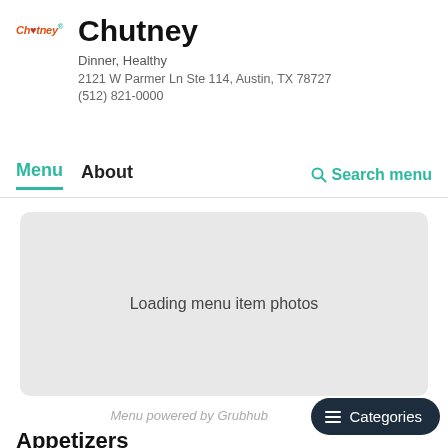[Figure (logo): Chutney restaurant logo in red italic text with teal superscript]
Chutney
Dinner, Healthy
2121 W Parmer Ln Ste 114, Austin, TX 78727
(512) 821-0000
Menu  About  Search menu
[Figure (screenshot): Loading menu item photos placeholder gray box]
Menu powered by Grubhub
Categories
Appetizers